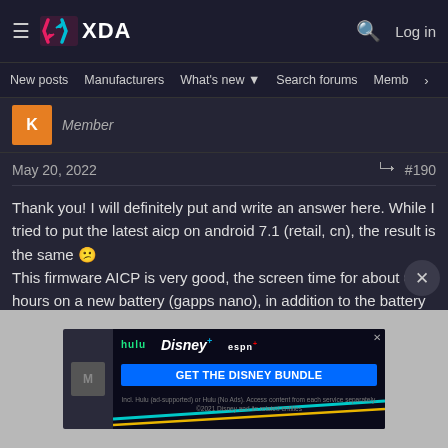XDA Developers — New posts | Manufacturers | What's new | Search forums | Members
Member
May 20, 2022  #190
Thank you! I will definitely put and write an answer here. While I tried to put the latest aicp on android 7.1 (retail, cn), the result is the same 🙁 This firmware AICP is very good, the screen time for about 6 hours on a new battery (gapps nano), in addition to the battery mod and the projector mod works, the hasselblad mod will also activate, but need up the moto camera apk with support mod.
[Figure (screenshot): Disney Bundle advertisement banner with Hulu, Disney+, ESPN+ logos and GET THE DISNEY BUNDLE call-to-action button]